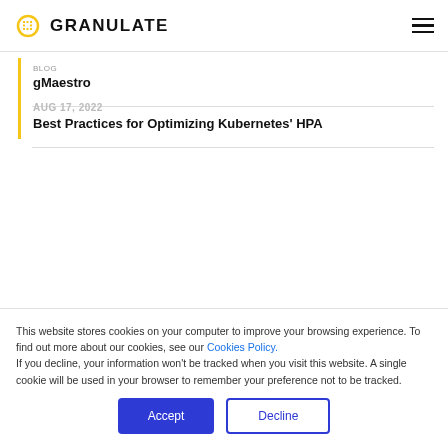GRANULATE
gMaestro
AUG 17, 2022
Best Practices for Optimizing Kubernetes' HPA
This website stores cookies on your computer to improve your browsing experience. To find out more about our cookies, see our Cookies Policy. If you decline, your information won't be tracked when you visit this website. A single cookie will be used in your browser to remember your preference not to be tracked.